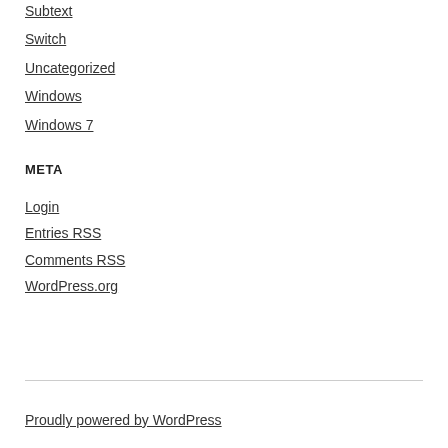Subtext
Switch
Uncategorized
Windows
Windows 7
META
Login
Entries RSS
Comments RSS
WordPress.org
Proudly powered by WordPress